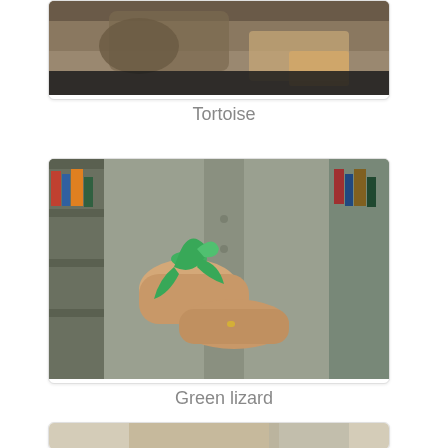[Figure (photo): A tortoise being held by a person in what appears to be a library setting. The tortoise's head and shell are visible.]
Tortoise
[Figure (photo): A person in a gray shirt holding a green lizard on their arm and hand in what appears to be a library setting. Bookshelves are visible in the background.]
Green lizard
[Figure (photo): A partially visible photo of another reptile being held, with a library background. Only the top portion is visible at the bottom of the page.]